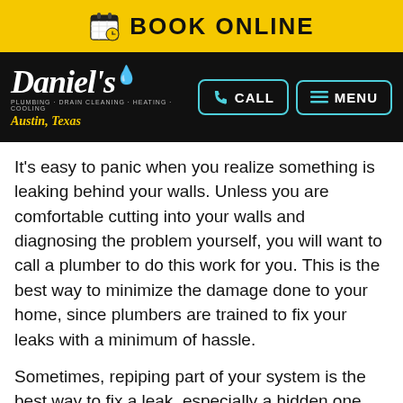BOOK ONLINE
[Figure (logo): Daniel's Plumbing Drain Cleaning Heating Cooling logo, Austin Texas, with CALL and MENU navigation buttons]
It's easy to panic when you realize something is leaking behind your walls. Unless you are comfortable cutting into your walls and diagnosing the problem yourself, you will want to call a plumber to do this work for you. This is the best way to minimize the damage done to your home, since plumbers are trained to fix your leaks with a minimum of hassle.
Sometimes, repiping part of your system is the best way to fix a leak, especially a hidden one. After all, if one part of the system of a plumbing it...